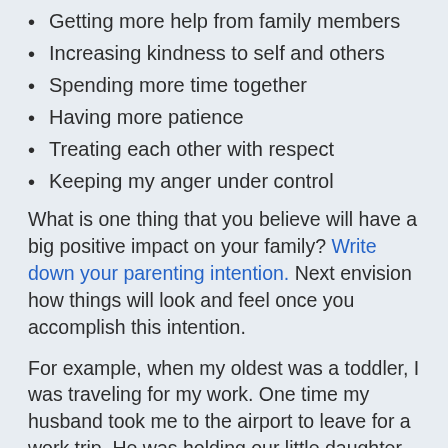Getting more help from family members
Increasing kindness to self and others
Spending more time together
Having more patience
Treating each other with respect
Keeping my anger under control
What is one thing that you believe will have a big positive impact on your family? Write down your parenting intention. Next envision how things will look and feel once you accomplish this intention.
For example, when my oldest was a toddler, I was traveling for my work. One time my husband took me to the airport to leave for a work trip. He was holding our little daughter as I left to get on the plane. I remember her crying and reaching for me as I walked away. It broke my heart. It was all the